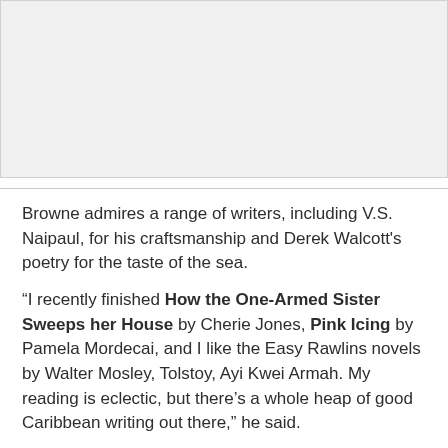[Figure (photo): Gray placeholder image area at the top of the page]
Browne admires a range of writers, including V.S. Naipaul, for his craftsmanship and Derek Walcott's poetry for the taste of the sea.
“I recently finished How the One-Armed Sister Sweeps her House by Cherie Jones, Pink Icing by Pamela Mordecai, and I like the Easy Rawlins novels by Walter Mosley, Tolstoy, Ayi Kwei Armah. My reading is eclectic, but there’s a whole heap of good Caribbean writing out there,” he said.